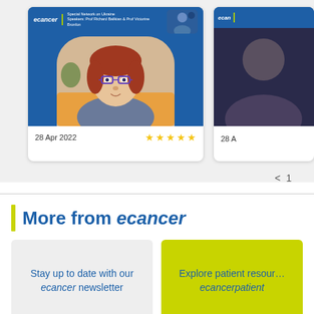[Figure (screenshot): ecancer video thumbnail showing a woman with red hair and glasses on a video call, with a speaker thumbnail in top right. Blue background with ecancer branding. Date: 28 Apr 2022 with 4 gold stars.]
[Figure (screenshot): Partially visible second ecancer video thumbnail with a person, cropped on the right side. Date: 28 A(pr 2022) partially visible.]
< 1
More from ecancer
Stay up to date with our ecancer newsletter
Explore patient resources at ecancerpatient